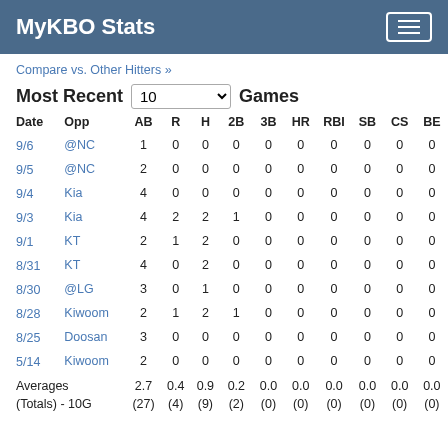MyKBO Stats
Compare vs. Other Hitters »
Most Recent 10 Games
| Date | Opp | AB | R | H | 2B | 3B | HR | RBI | SB | CS | BE |
| --- | --- | --- | --- | --- | --- | --- | --- | --- | --- | --- | --- |
| 9/6 | @NC | 1 | 0 | 0 | 0 | 0 | 0 | 0 | 0 | 0 | 0 |
| 9/5 | @NC | 2 | 0 | 0 | 0 | 0 | 0 | 0 | 0 | 0 | 0 |
| 9/4 | Kia | 4 | 0 | 0 | 0 | 0 | 0 | 0 | 0 | 0 | 0 |
| 9/3 | Kia | 4 | 2 | 2 | 1 | 0 | 0 | 0 | 0 | 0 | 0 |
| 9/1 | KT | 2 | 1 | 2 | 0 | 0 | 0 | 0 | 0 | 0 | 0 |
| 8/31 | KT | 4 | 0 | 2 | 0 | 0 | 0 | 0 | 0 | 0 | 0 |
| 8/30 | @LG | 3 | 0 | 1 | 0 | 0 | 0 | 0 | 0 | 0 | 0 |
| 8/28 | Kiwoom | 2 | 1 | 2 | 1 | 0 | 0 | 0 | 0 | 0 | 0 |
| 8/25 | Doosan | 3 | 0 | 0 | 0 | 0 | 0 | 0 | 0 | 0 | 0 |
| 5/14 | Kiwoom | 2 | 0 | 0 | 0 | 0 | 0 | 0 | 0 | 0 | 0 |
| Averages
(Totals) - 10G |  | 2.7
(27) | 0.4
(4) | 0.9
(9) | 0.2
(2) | 0.0
(0) | 0.0
(0) | 0.0
(0) | 0.0
(0) | 0.0
(0) | 0.0
(0) |